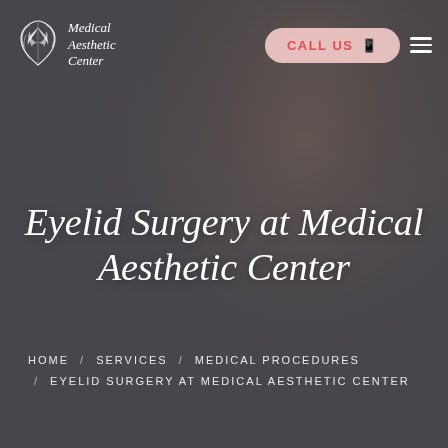[Figure (photo): Background photo of a young woman with blonde hair touching her face gently, with a dark semi-transparent overlay giving a grey-toned aesthetic look]
Medical Aesthetic Center — CALL US — navigation menu
Eyelid Surgery at Medical Aesthetic Center
HOME / SERVICES / MEDICAL PROCEDURES / EYELID SURGERY AT MEDICAL AESTHETIC CENTER